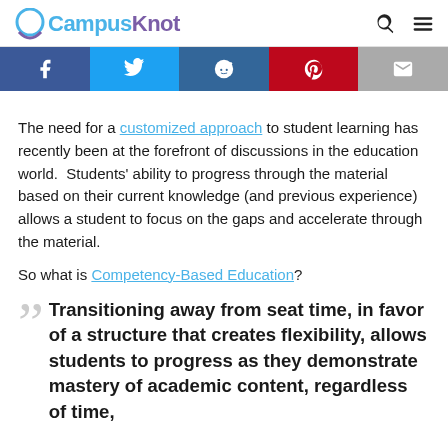CampusKnot
[Figure (infographic): Social sharing buttons bar: Facebook (dark blue), Twitter (light blue), Reddit (dark blue), Pinterest (red), Email (gray)]
The need for a customized approach to student learning has recently been at the forefront of discussions in the education world.  Students' ability to progress through the material based on their current knowledge (and previous experience) allows a student to focus on the gaps and accelerate through the material.
So what is Competency-Based Education?
Transitioning away from seat time, in favor of a structure that creates flexibility, allows students to progress as they demonstrate mastery of academic content, regardless of time,